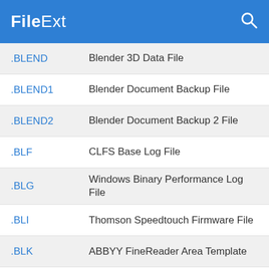FileExt
.BLEND | Blender 3D Data File
.BLEND1 | Blender Document Backup File
.BLEND2 | Blender Document Backup 2 File
.BLF | CLFS Base Log File
.BLG | Windows Binary Performance Log File
.BLI | Thomson Speedtouch Firmware File
.BLK | ABBYY FineReader Area Template
.BLKRT | Block Artist Image File
.BLN | Golden Software Blanking File
.BLOB | Valve Steam Archive
.BLO... | LEGO MINDSTORMS NXT Block...